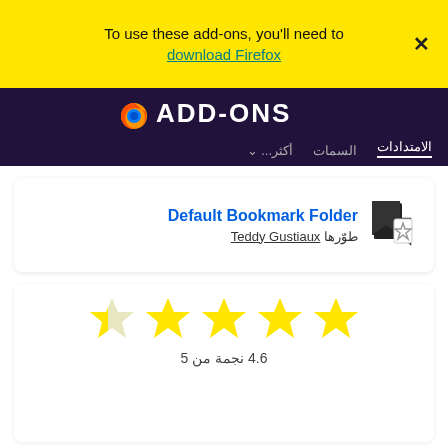To use these add-ons, you'll need to download Firefox
[Figure (screenshot): Firefox ADD-ONS navigation bar with logo and Arabic navigation links: الامتدادات, السمات, أكثر...]
Default Bookmark Folder
طوّرها Teddy Gustiaux
[Figure (infographic): Star rating display showing 4.6 out of 5 stars with 5 large yellow stars (first one partially filled)]
4.6 نجمة من 5
| Count | Bar | Stars |
| --- | --- | --- |
| 292 |  | 5 |
| 33 |  | 4 |
| 16 |  | 3 |
| 7 |  | 2 |